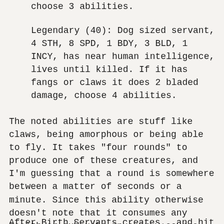choose 3 abilities.
Legendary (40): Dog sized servant, 4 STH, 8 SPD, 1 BDY, 3 BLD, 1 INCY, has near human intelligence, lives until killed. If it has fangs or claws it does 2 bladed damage, choose 4 abilities.
The noted abilities are stuff like claws, being amorphous or being able to fly. It takes "four rounds" to produce one of these creatures, and I'm guessing that a round is somewhere between a matter of seconds or a minute. Since this ability otherwise doesn't note that it consumes any health or exhausts an energy source, nor that you're limited to a specific number of servants... one creepy Androgyne wizard could flood half a city with murderous spider-fetuses.
After Birth Servants creates...and hit Blood...